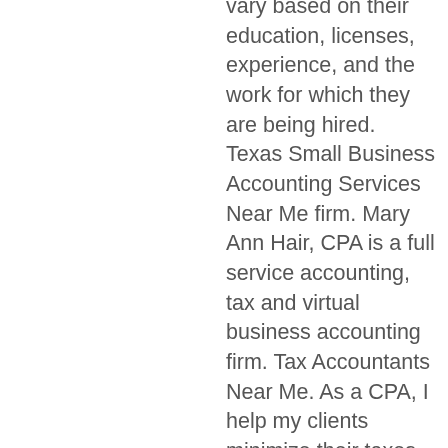vary based on their education, licenses, experience, and the work for which they are being hired. Texas Small Business Accounting Services Near Me firm. Mary Ann Hair, CPA is a full service accounting, tax and virtual business accounting firm. Tax Accountants Near Me. As a CPA, I help my clients minimize their taxes while keeping them in full compliance with federal, state, and local tax laws, as well as help my small business client free from tedious tasks of accounting,